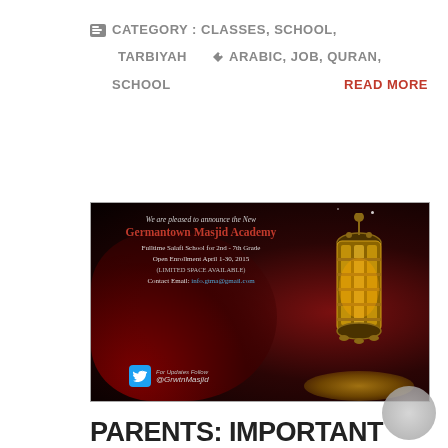CATEGORY : CLASSES, SCHOOL, TARBIYAH   ARABIC, JOB, QURAN, SCHOOL
READ MORE
[Figure (photo): Promotional image for Germantown Masjid Academy. Dark background with an ornate golden lantern glowing on the right, red draped fabric on the left. Text overlay reads: 'We are pleased to announce the New Germantown Masjid Academy. Fulltime Salafi School for 2nd - 7th Grade. Open Enrollment April 1-30, 2015 (LIMITED SPACE AVAILABLE). Contact Email: info.gtma@gmail.com'. Twitter handle @GrwtnMasjid shown at bottom.]
PARENTS: IMPORTANT GERMANTOWN MASJID ACADEMY UPDATE